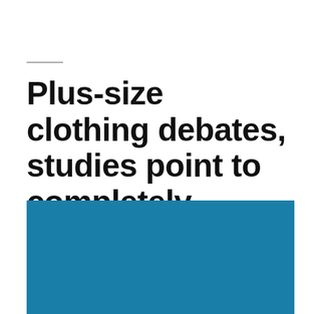Plus-size clothing debates, studies point to completely opposite conclusions
[Figure (illustration): Solid blue rectangle image block at the bottom of the page]